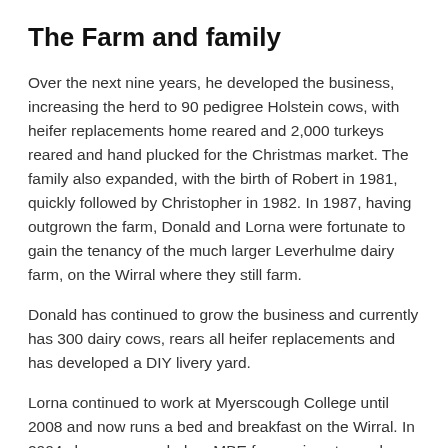The Farm and family
Over the next nine years, he developed the business, increasing the herd to 90 pedigree Holstein cows, with heifer replacements home reared and 2,000 turkeys reared and hand plucked for the Christmas market. The family also expanded, with the birth of Robert in 1981, quickly followed by Christopher in 1982. In 1987, having outgrown the farm, Donald and Lorna were fortunate to gain the tenancy of the much larger Leverhulme dairy farm, on the Wirral where they still farm.
Donald has continued to grow the business and currently has 300 dairy cows, rears all heifer replacements and has developed a DIY livery yard.
Lorna continued to work at Myerscough College until 2008 and now runs a bed and breakfast on the Wirral. In 2004 she was awarded an MBE for services to rural enterprise in the North West – although the family says it stands for "Mother